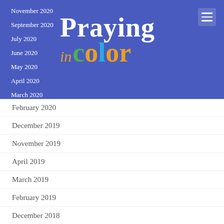[Figure (logo): Praying in Color logo with colorful lettering on blue background]
November 2020
September 2020
July 2020
June 2020
May 2020
April 2020
March 2020
February 2020
December 2019
November 2019
April 2019
March 2019
February 2019
December 2018
November 2018